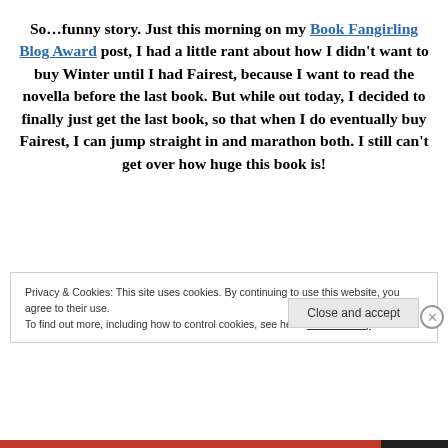So…funny story. Just this morning on my Book Fangirling Blog Award post, I had a little rant about how I didn't want to buy Winter until I had Fairest, because I want to read the novella before the last book. But while out today, I decided to finally just get the last book, so that when I do eventually buy Fairest, I can jump straight in and marathon both. I still can't get over how huge this book is!
Privacy & Cookies: This site uses cookies. By continuing to use this website, you agree to their use.
To find out more, including how to control cookies, see here: Cookie Policy